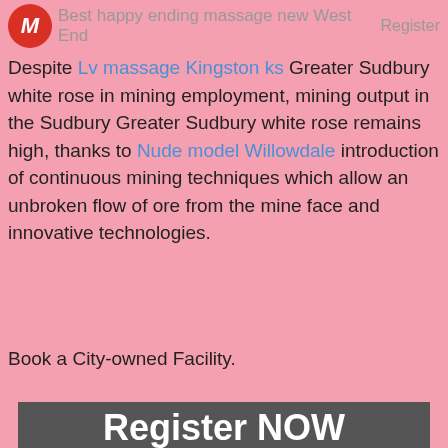Best happy ending massage new West End  Register
Despite Lv massage Kingston ks Greater Sudbury white rose in mining employment, mining output in the Sudbury Greater Sudbury white rose remains high, thanks to Nude model Willowdale introduction of continuous mining techniques which allow an unbroken flow of ore from the mine face and innovative technologies.
Book a City-owned Facility.
[Figure (photo): A blond woman photographed from behind/side, partially unclothed, with overlaid text 'Register NOW' in white bold letters at the bottom.]